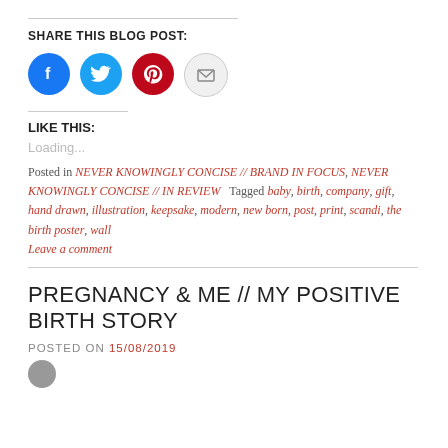SHARE THIS BLOG POST:
[Figure (illustration): Four social share buttons: Facebook (blue circle), Twitter (light blue circle), Pinterest (red circle), Email (light gray circle)]
LIKE THIS:
Loading...
Posted in NEVER KNOWINGLY CONCISE // BRAND IN FOCUS, NEVER KNOWINGLY CONCISE // IN REVIEW   Tagged baby, birth, company, gift, hand drawn, illustration, keepsake, modern, new born, post, print, scandi, the birth poster, wall
Leave a comment
PREGNANCY & ME // MY POSITIVE BIRTH STORY
POSTED ON 15/08/2019